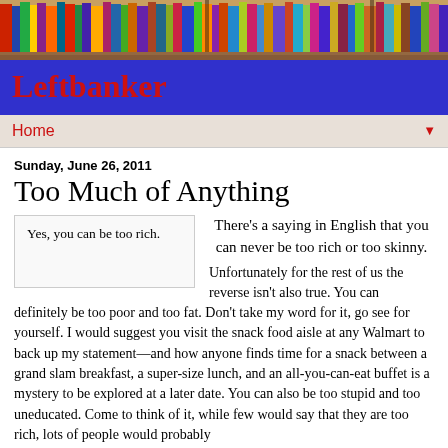[Figure (photo): Colorful bookshelf photo at the top of the page]
Leftbanker
Home ▼
Sunday, June 26, 2011
Too Much of Anything
Yes, you can be too rich.
There's a saying in English that you can never be too rich or too skinny. Unfortunately for the rest of us the reverse isn't also true. You can definitely be too poor and too fat. Don't take my word for it, go see for yourself. I would suggest you visit the snack food aisle at any Walmart to back up my statement—and how anyone finds time for a snack between a grand slam breakfast, a super-size lunch, and an all-you-can-eat buffet is a mystery to be explored at a later date. You can also be too stupid and too uneducated. Come to think of it, while few would say that they are too rich, lots of people would probably admit that they are too rich, lots of people would probably